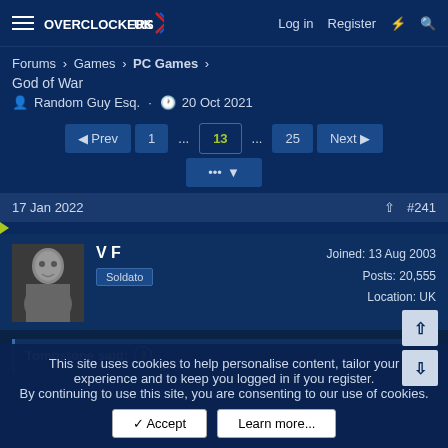Overclockers UK — Log in  Register
Forums > Games > PC Games >
God of War
Random Guy Esq. · 20 Oct 2021
Prev  1  ...  13  ...  25  Next
17 Jan 2022  #241
V F
Soldato
Joined: 13 Aug 2003
Posts: 20,555
Location: UK
Tombstone said:
This site uses cookies to help personalise content, tailor your experience and to keep you logged in if you register.
By continuing to use this site, you are consenting to our use of cookies.
✓ Accept    Learn more...